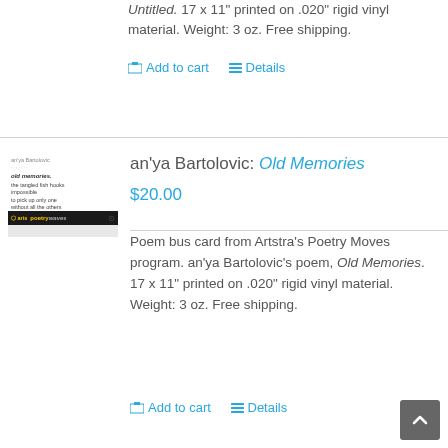Untitled. 17 x 11" printed on .020" rigid vinyl material. Weight: 3 oz. Free shipping.
Add to cart   Details
[Figure (photo): Book cover image for Old Memories poetry card]
an'ya Bartolovic: Old Memories
$20.00
Poem bus card from Artstra's Poetry Moves program. an'ya Bartolovic's poem, Old Memories. 17 x 11" printed on .020" rigid vinyl material. Weight: 3 oz. Free shipping.
Add to cart   Details